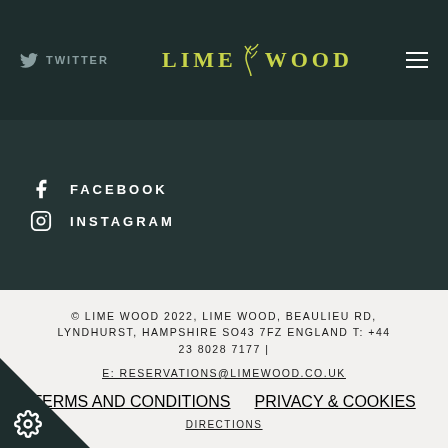TWITTER  LIME WOOD  (menu icon)
FACEBOOK
INSTAGRAM
© LIME WOOD 2022, LIME WOOD, BEAULIEU RD, LYNDHURST, HAMPSHIRE SO43 7FZ ENGLAND T: +44 23 8028 7177 |
E: RESERVATIONS@LIMEWOOD.CO.UK
TERMS AND CONDITIONS    PRIVACY & COOKIES    DIRECTIONS